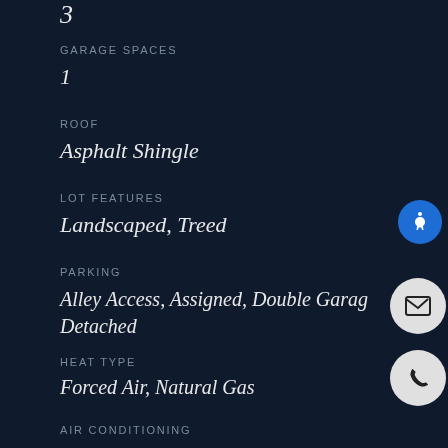3
GARAGE SPACES
1
ROOF
Asphalt Shingle
LOT FEATURES
Landscaped, Treed
PARKING
Alley Access, Assigned, Double Garage Detached
HEAT TYPE
Forced Air, Natural Gas
AIR CONDITIONING